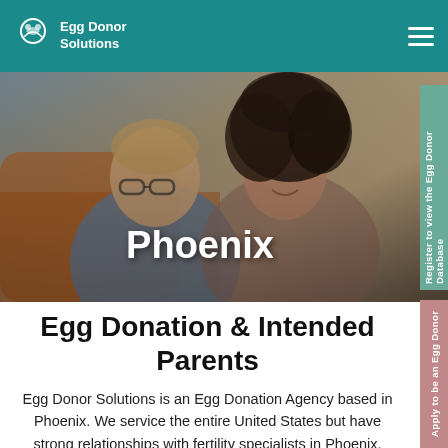Egg Donor Solutions
[Figure (photo): A couple leaning close together smiling, hero image background for Phoenix page]
Phoenix
Register to view the Egg Donor Database
Egg Donation & Intended Parents
Apply to be an Egg Donor
Egg Donor Solutions is an Egg Donation Agency based in Phoenix. We service the entire United States but have strong relationships with fertility specialists in Phoenix.